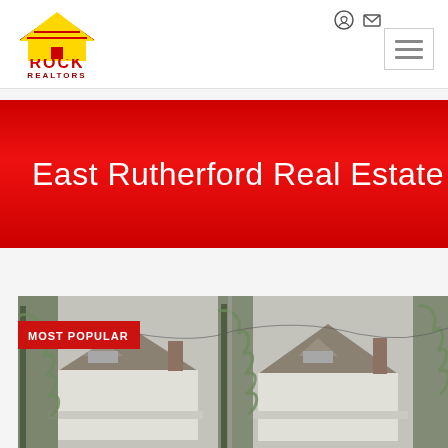[Figure (logo): Rock Realtors logo: yellow house outline with red and yellow stripes, text ROCK in red, REALTORS in dark red below]
East Rutherford Real Estate
MOST POPULAR
[Figure (photo): Photograph of residential homes with bare winter trees covered in ivy, gray sky background, two houses visible side by side]